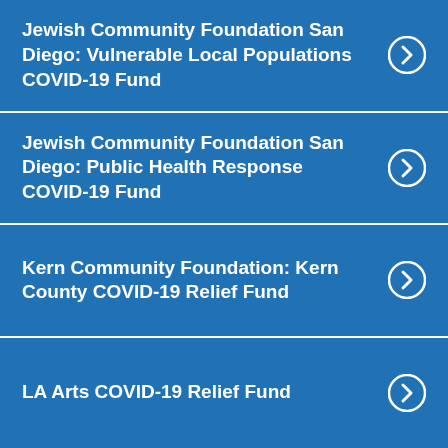Jewish Community Foundation San Diego: Vulnerable Local Populations COVID-19 Fund
Jewish Community Foundation San Diego: Public Health Response COVID-19 Fund
Kern Community Foundation: Kern County COVID-19 Relief Fund
LA Arts COVID-19 Relief Fund